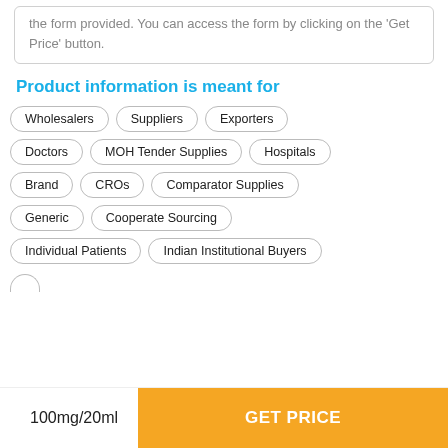the form provided. You can access the form by clicking on the 'Get Price' button.
Product information is meant for
Wholesalers
Suppliers
Exporters
Doctors
MOH Tender Supplies
Hospitals
Brand
CROs
Comparator Supplies
Generic
Cooperate Sourcing
Individual Patients
Indian Institutional Buyers
100mg/20ml
GET PRICE